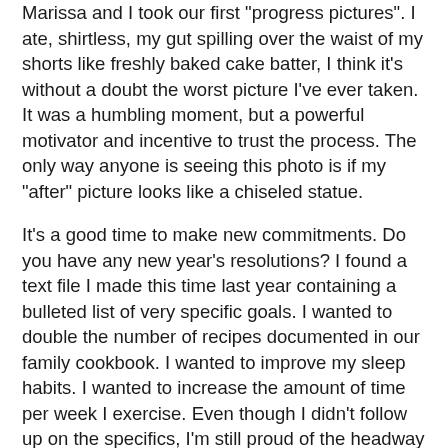Marissa and I took our first "progress pictures". I ate, shirtless, my gut spilling over the waist of my shorts like freshly baked cake batter, I think it's without a doubt the worst picture I've ever taken. It was a humbling moment, but a powerful motivator and incentive to trust the process. The only way anyone is seeing this photo is if my "after" picture looks like a chiseled statue.
It's a good time to make new commitments. Do you have any new year's resolutions? I found a text file I made this time last year containing a bulleted list of very specific goals. I wanted to double the number of recipes documented in our family cookbook. I wanted to improve my sleep habits. I wanted to increase the amount of time per week I exercise. Even though I didn't follow up on the specifics, I'm still proud of the headway I made.
This year, I'm making qualitative goals - not things to measure, but themes to focus on. I want to grow an selfless attitude to serve people around me. I want to learn to treat